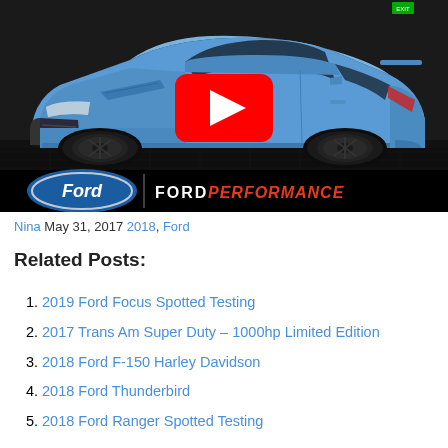[Figure (screenshot): YouTube video thumbnail showing a blue Ford Focus RS hatchback in a dark studio setting, with a Ford Performance logo overlay and a red YouTube play button in the center.]
Nina May 31, 2017 2018, Ford
Related Posts:
2019 Ford Focus Spotted Testing
2017 Trans Am Super Duty – 1000hp Limited Edition
2018 Ford F-150 Harley Davidson
2018 Ford Thunderbird
2018 Ford Ranger Spotted Testing